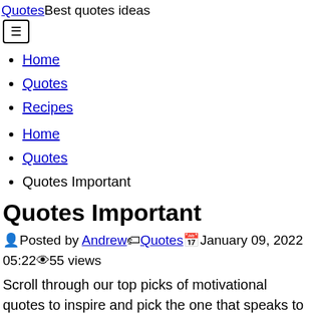QuotesBest quotes ideas
Home
Quotes
Recipes
Home
Quotes
Quotes Important
Quotes Important
Posted by Andrew Quotes January 09, 2022 05:22 55 views
Scroll through our top picks of motivational quotes to inspire and pick the one that speaks to you the most. From time to time, many of us find ourselves searching for the most inspirational quotes on google.
Millions of americans can remember exactly where they were when they heard the famous words of the first man on the moon.